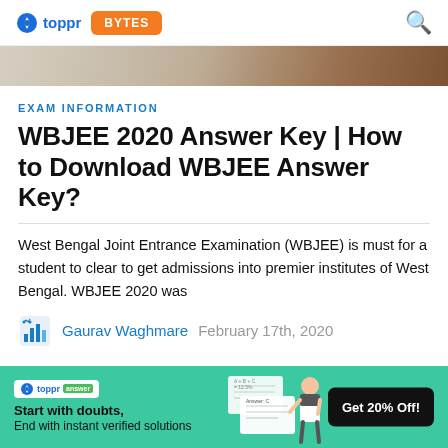toppr BYTES
[Figure (photo): Partial view of a hero/banner image with blurred background]
EXAM INFORMATION
WBJEE 2020 Answer Key | How to Download WBJEE Answer Key?
West Bengal Joint Entrance Examination (WBJEE) is must for a student to clear to get admissions into premier institutes of West Bengal. WBJEE 2020 was
Gaurav Waghmare   February 17th, 2020
[Figure (infographic): Toppr Answer advertisement banner: Start with doubts, End with instant verified solutions. Get 20% Off!]